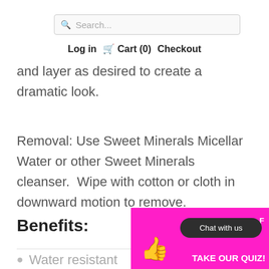Search...  Log in  Cart (0)  Checkout
and layer as desired to create a dramatic look.
Removal: Use Sweet Minerals Micellar Water or other Sweet Minerals cleanser.  Wipe with cotton or cloth in downward motion to remove.
Benefits:
Water resistant